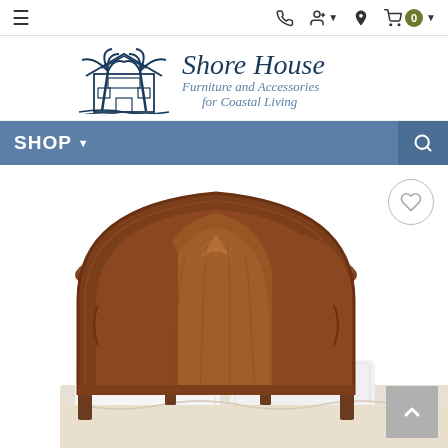Navigation bar with hamburger menu, phone, account, location, and cart icons
[Figure (logo): Shore House Furniture and Accessories for Coastal Living logo with illustrated beach house and palm trees]
SHOP ▼ with search icon
[Figure (photo): Ornate wooden bed headboard with arched carved design and four posts, white pillows and bedding visible at the bottom]